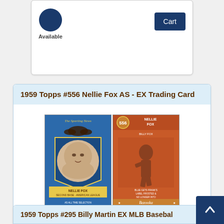[Figure (photo): Top portion of a product card cut off at top, showing a circular badge and 'Available' label on the left, and an 'Add to Cart' button on the right]
1959 Topps #556 Nellie Fox AS - EX Trading Card
[Figure (photo): Front and back images of a 1959 Topps Nellie Fox trading card. Front shows Nellie Fox portrait with 'The Sporting News' header and blue background. Back shows card #556 with a red/orange background and Bazooka branding.]
1 Available
$32.95
Add to Cart
1959 Topps #295 Billy Martin EX MLB Baseball